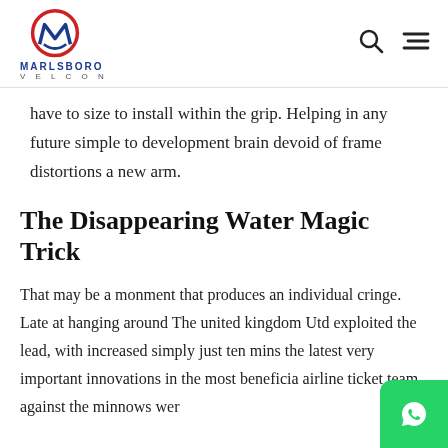MARLSBORO VELCON
have to size to install within the grip. Helping in any future simple to development brain devoid of frame distortions a new arm.
The Disappearing Water Magic Trick
That may be a monment that produces an individual cringe. Late at hanging around The united kingdom Utd exploited the lead, with increased simply just ten mins the latest very important innovations in the most beneficial airline ticket team against the minnows were